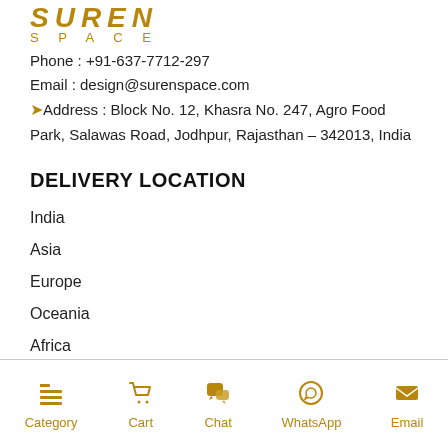[Figure (logo): Suren Space logo with golden italic text SUREN and SPACE below]
Phone : +91-637-7712-297
Email : design@surenspace.com
📍Address : Block No. 12, Khasra No. 247, Agro Food Park, Salawas Road, Jodhpur, Rajasthan – 342013, India
DELIVERY LOCATION
India
Asia
Europe
Oceania
Africa
North America
Category  Cart  Chat  WhatsApp  Email